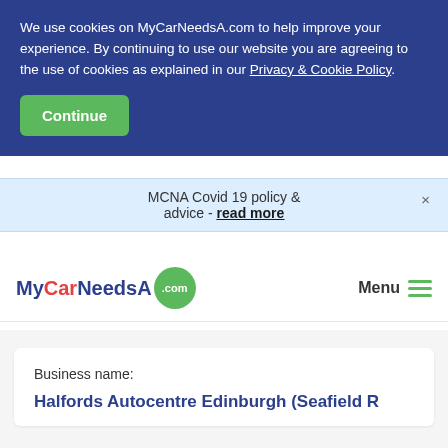We use cookies on MyCarNeedsA.com to help improve your experience. By continuing to use our website you are agreeing to the use of cookies as explained in our Privacy & Cookie Policy.
Continue
MCNA Covid 19 policy & advice - read more
[Figure (logo): MyCarNeedsA.com logo with green circle containing .com text]
Menu
Business name:
Halfords Autocentre Edinburgh (Seafield R